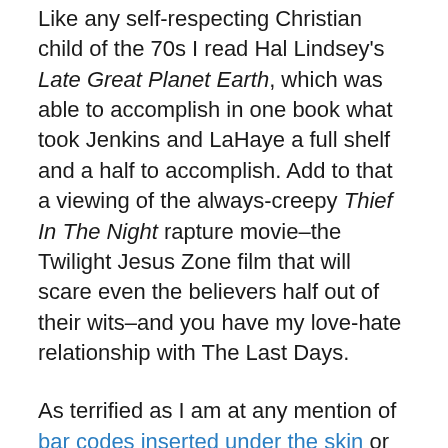Like any self-respecting Christian child of the 70s I read Hal Lindsey's Late Great Planet Earth, which was able to accomplish in one book what took Jenkins and LaHaye a full shelf and a half to accomplish. Add to that a viewing of the always-creepy Thief In The Night rapture movie–the Twilight Jesus Zone film that will scare even the believers half out of their wits–and you have my love-hate relationship with The Last Days.
As terrified as I am at any mention of bar codes inserted under the skin or wars being fought in territories close to Meggido, I am still not sure of how literally I take the imagry of the Apocalypse.
Regardless, I love the book of Revelation because it is some of the most beautiful poetry you'll find in the Bible. Granted, I'm of the T.S. Eliot school of poetry, where things